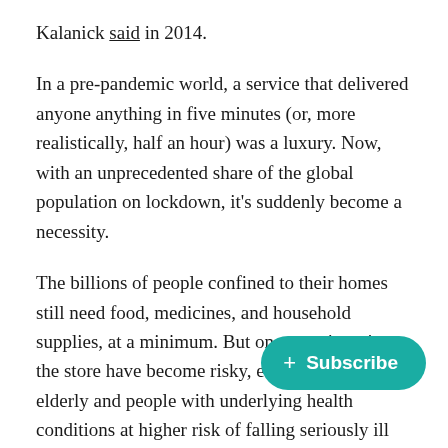Kalanick said in 2014.
In a pre-pandemic world, a service that delivered anyone anything in five minutes (or, more realistically, half an hour) was a luxury. Now, with an unprecedented share of the global population on lockdown, it's suddenly become a necessity.
The billions of people confined to their homes still need food, medicines, and household supplies, at a minimum. But once-routine trips to the store have become risky, especially for the elderly and people with underlying health conditions at higher risk of falling seriously ill from covid-19. So long as social distancing measures remain in place, fewer peo[ple going out is also better for everyone.
This is where Uber can help. Uber had nearly 1 million